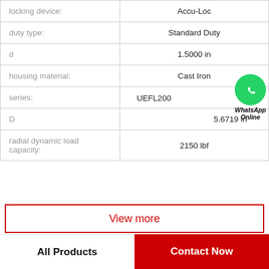| Property | Value |
| --- | --- |
| locking device: | Accu-Loc |
| duty type: | Standard Duty |
| d | 1.5000 in |
| housing material: | Cast Iron |
| series: | UEFL200 |
| D | 5.6719 in |
| radial dynamic load capacity: | 2150 lbf |
View more
All Products
Contact Now